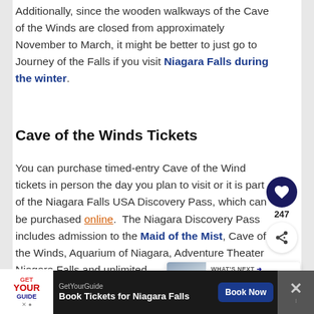Additionally, since the wooden walkways of the Cave of the Winds are closed from approximately November to March, it might be better to just go to Journey of the Falls if you visit Niagara Falls during the winter.
Cave of the Winds Tickets
You can purchase timed-entry Cave of the Wind tickets in person the day you plan to visit or it is part of the Niagara Falls USA Discovery Pass, which can be purchased online. The Niagara Discovery Pass includes admission to the Maid of the Mist, Cave of the Winds, Aquarium of Niagara, Adventure Theater Niagara Falls and unlimited
[Figure (other): Heart/like button widget with count 247 and share button]
[Figure (other): What's Next panel with thumbnail image and text: Niagara City Cruises By...]
[Figure (other): GetYourGuide advertisement banner: Book Tickets for Niagara Falls, Book Now button]